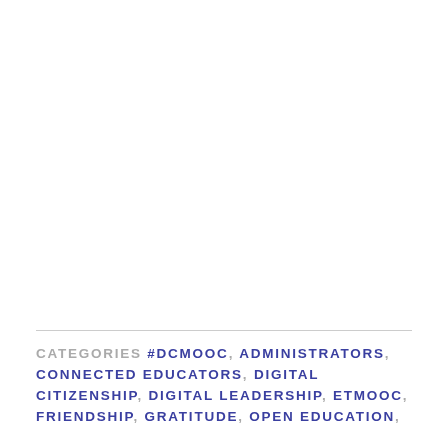CATEGORIES #DCMOOC, ADMINISTRATORS, CONNECTED EDUCATORS, DIGITAL CITIZENSHIP, DIGITAL LEADERSHIP, ETMOOC, FRIENDSHIP, GRATITUDE, OPEN EDUCATION,